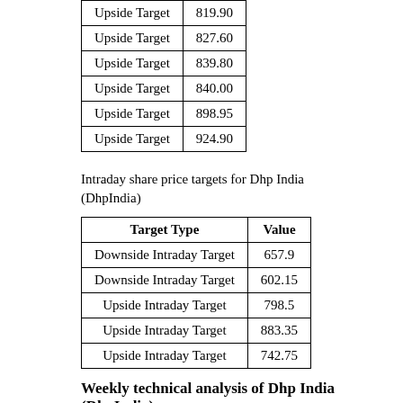| Target Type | Value |
| --- | --- |
| Upside Target | 819.90 |
| Upside Target | 827.60 |
| Upside Target | 839.80 |
| Upside Target | 840.00 |
| Upside Target | 898.95 |
| Upside Target | 924.90 |
Intraday share price targets for Dhp India (DhpIndia)
| Target Type | Value |
| --- | --- |
| Downside Intraday Target | 657.9 |
| Downside Intraday Target | 602.15 |
| Upside Intraday Target | 798.5 |
| Upside Intraday Target | 883.35 |
| Upside Intraday Target | 742.75 |
Weekly technical analysis of Dhp India (DhpIndia)